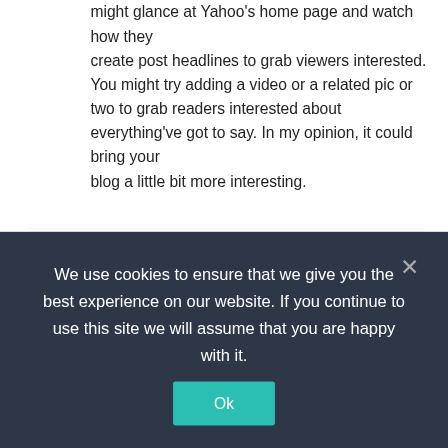might glance at Yahoo's home page and watch how they create post headlines to grab viewers interested. You might try adding a video or a related pic or two to grab readers interested about everything've got to say. In my opinion, it could bring your blog a little bit more interesting.
senzori pescuit says:
January 16, 2020 at 9:22 am
Hi to every body, it's my first visit of this
We use cookies to ensure that we give you the best experience on our website. If you continue to use this site we will assume that you are happy with it.
Ok